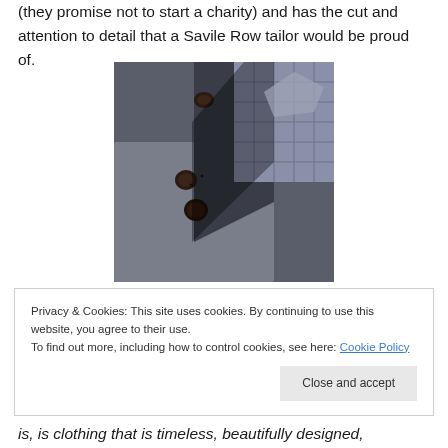(they promise not to start a charity) and has the cut and attention to detail that a Savile Row tailor would be proud of.
[Figure (photo): Close-up photograph of dark grey suit jacket buttons and lapel, showing tailoring detail with dark brown buttons against grey wool fabric and a checked lining visible.]
Privacy & Cookies: This site uses cookies. By continuing to use this website, you agree to their use.
To find out more, including how to control cookies, see here: Cookie Policy
is, is clothing that is timeless, beautifully designed,